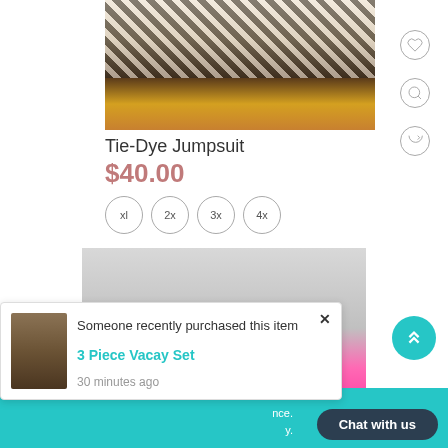[Figure (photo): Product photo of Tie-Dye Jumpsuit: legs of model wearing blue jumpsuit and gold heels, with zebra print fabric and gold vase in background]
Tie-Dye Jumpsuit
$40.00
xl
2x
3x
4x
[Figure (photo): Product photo of woman wearing hot pink outfit against white tile wall background, with pink eye makeup]
Someone recently purchased this item
3 Piece Vacay Set
30 minutes ago